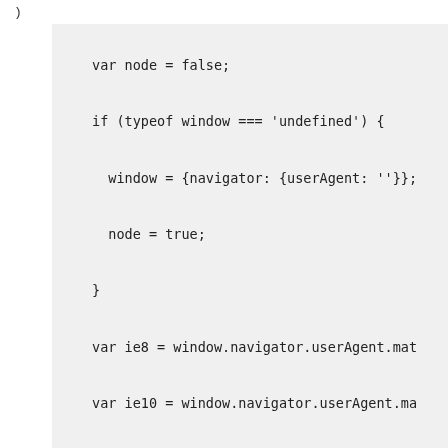)
var node = false;

if (typeof window === 'undefined') {

  window = {navigator: {userAgent: ''}};

  node = true;

}

var ie8 = window.navigator.userAgent.mat

var ie10 = window.navigator.userAgent.ma

var firefox = window.navigator.userAgent

var chrome = window.navigator.userAgent.

var phantomjs = window.navigator.userAge

var safari = window.navigator.userAgent.